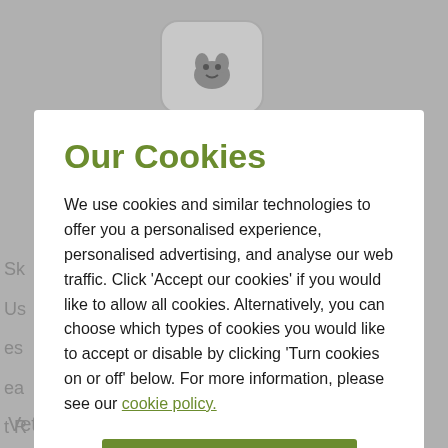[Figure (screenshot): Cookie consent modal dialog overlay on a pet/vet website. Background shows greyed-out website content. Modal contains title 'Our Cookies', descriptive text about cookie usage, a green 'Accept our cookies' button, and a 'Turn cookies on or off' link.]
Our Cookies
We use cookies and similar technologies to offer you a personalised experience, personalised advertising, and analyse our web traffic. Click 'Accept our cookies' if you would like to allow all cookies. Alternatively, you can choose which types of cookies you would like to accept or disable by clicking 'Turn cookies on or off' below. For more information, please see our cookie policy.
Accept our cookies
Turn cookies on or off